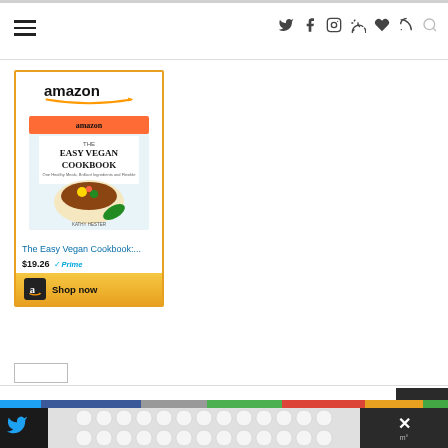[Figure (screenshot): Website navigation bar with hamburger menu icon on left and social media icons (Twitter, Facebook, Instagram, Pinterest, heart, RSS, search) on right]
[Figure (screenshot): Amazon affiliate advertisement widget showing 'The Easy Vegan Cookbook' book with price $19.26, Prime badge, and Shop now button with golden background]
[Figure (screenshot): Bottom website footer area with color bar (blue, dark blue, gray, green, red, orange, green) and dark strip with pattern overlay and close button]